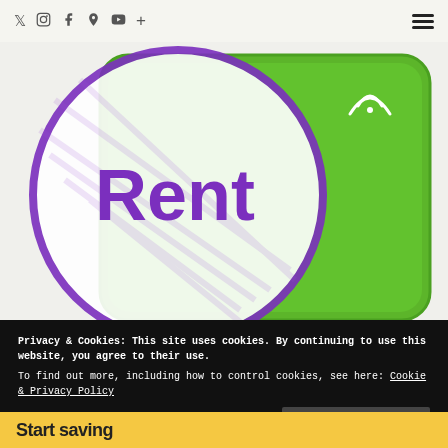Social icons: Twitter, Instagram, Facebook, Pinterest, YouTube, Plus | Hamburger menu
[Figure (photo): A green TravelWifi portable wifi device with rounded corners, showing the TravelWifi logo (wifi icon and vertical text 'TravelWifi') on a bright green background. Overlapping on the left is a white circle with purple border containing the word 'Rent' in bold purple text.]
Privacy & Cookies: This site uses cookies. By continuing to use this website, you agree to their use.
To find out more, including how to control cookies, see here: Cookie & Privacy Policy
Close and Accept
Start saving